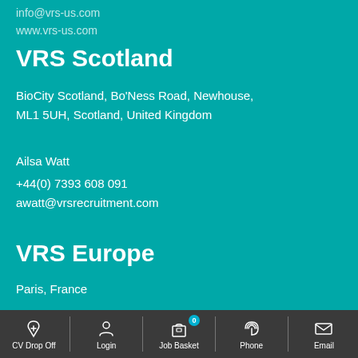info@vrs-us.com
www.vrs-us.com
VRS Scotland
BioCity Scotland, Bo'Ness Road, Newhouse, ML1 5UH, Scotland, United Kingdom
Ailsa Watt
+44(0) 7393 608 091
awatt@vrsrecruitment.com
VRS Europe
Paris, France
CV Drop Off  Login  Job Basket  Phone  Email